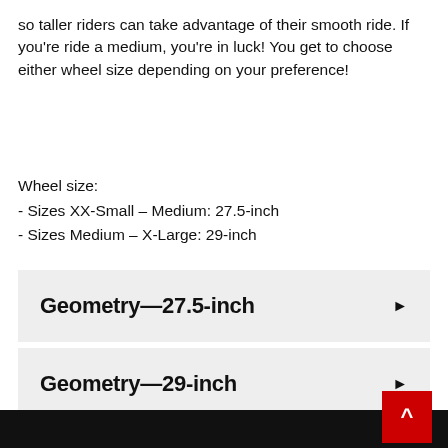so taller riders can take advantage of their smooth ride. If you're ride a medium, you're in luck! You get to choose either wheel size depending on your preference!
Wheel size:
- Sizes XX-Small – Medium: 27.5-inch
- Sizes Medium – X-Large: 29-inch
Geometry—27.5-inch
Geometry—29-inch
Sizing